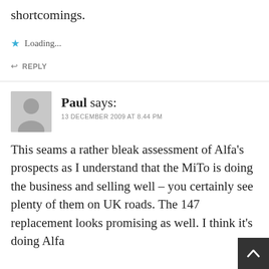shortcomings.
Loading...
REPLY
Paul says:
13 DECEMBER 2009 AT 8.44 PM
This seams a rather bleak assessment of Alfa's prospects as I understand that the MiTo is doing the business and selling well – you certainly see plenty of them on UK roads. The 147 replacement looks promising as well. I think it's doing Alfa